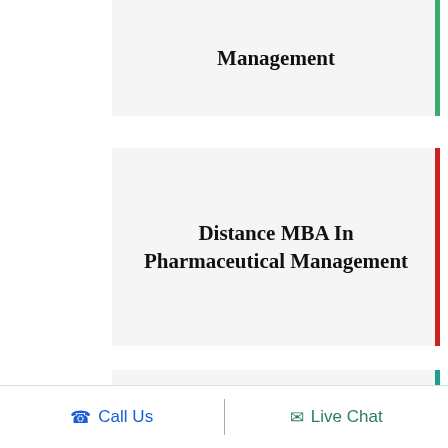Management
Distance MBA In Pharmaceutical Management
Distance MBA In Telecom Management
Distance MBA In Fashion Management
Call Us   Live Chat